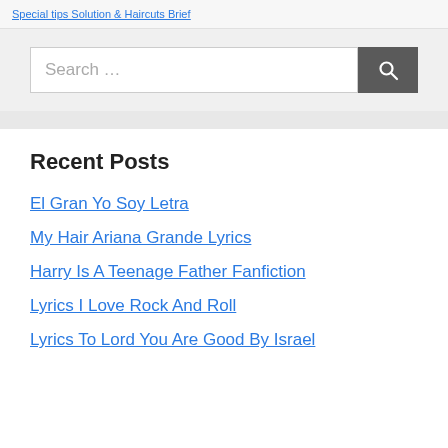Special tips Solution & Haircuts Brief
Search …
Recent Posts
El Gran Yo Soy Letra
My Hair Ariana Grande Lyrics
Harry Is A Teenage Father Fanfiction
Lyrics I Love Rock And Roll
Lyrics To Lord You Are Good By Israel Houghton